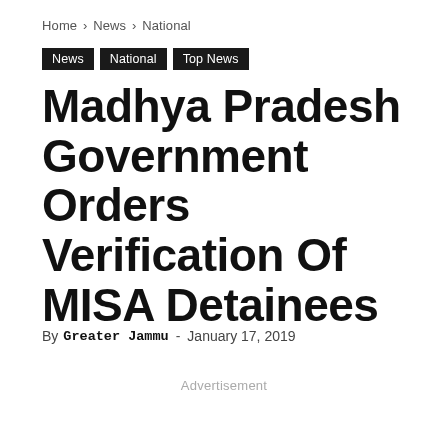Home › News › National
News  National  Top News
Madhya Pradesh Government Orders Verification Of MISA Detainees
By Greater Jammu - January 17, 2019
Advertisement